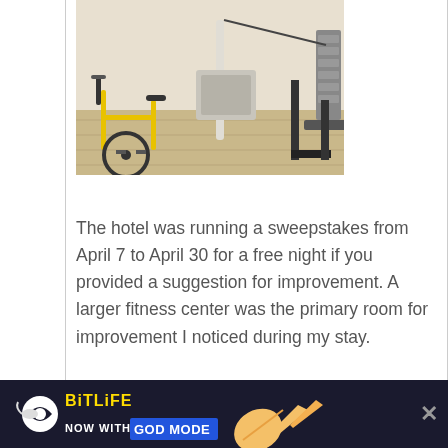[Figure (photo): Indoor hotel fitness center with yellow exercise bike and weight machine on light wood floor, white walls]
The hotel was running a sweepstakes from April 7 to April 30 for a free night if you provided a suggestion for improvement. A larger fitness center was the primary room for improvement I noticed during my stay.
[Figure (photo): Indoor hotel swimming pool with turquoise water, white walls with windows, and a clock on the wall]
[Figure (screenshot): BitLife mobile game advertisement banner: 'NOW WITH GOD MODE' with pointing hand graphic and close button]